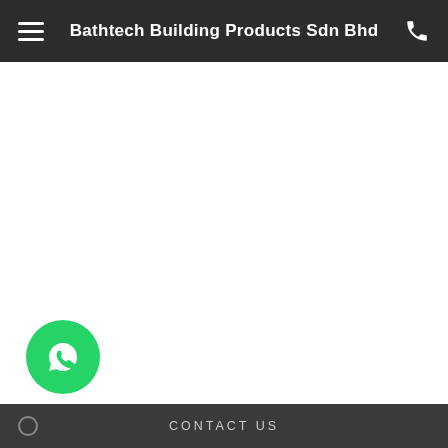Bathtech Building Products Sdn Bhd
[Figure (screenshot): White empty main content area of a mobile website]
[Figure (logo): WhatsApp floating action button - green circle with white WhatsApp handset/chat icon]
CONTACT US